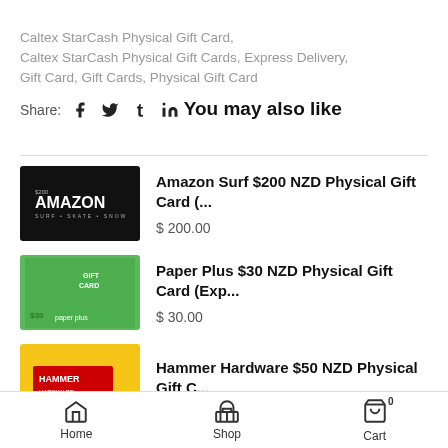Caltex StarCash Physical Gift Card, Caltex StarCash Physical Gift Cards, Express Delivery, Gift Card, Gift Cards, Physical Gift Card
Share: f t in
You may also like
Amazon Surf $200 NZD Physical Gift Card (... $ 200.00
Paper Plus $30 NZD Physical Gift Card (Exp... $ 30.00
Hammer Hardware $50 NZD Physical Gift C...
Home   Shop   Cart 0